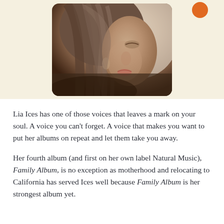[Figure (photo): Close-up side profile photo of a woman with long brown hair, face turned slightly away, against a light background. The image is displayed in a rounded rectangle frame on a cream/beige background. An orange circle icon appears in the top-right area.]
Lia Ices has one of those voices that leaves a mark on your soul. A voice you can't forget. A voice that makes you want to put her albums on repeat and let them take you away.
Her fourth album (and first on her own label Natural Music), Family Album, is no exception as motherhood and relocating to California has served Ices well because Family Album is her strongest album yet.